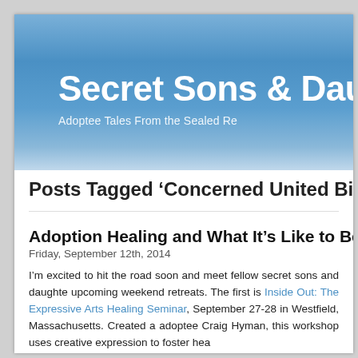Secret Sons & Dau
Adoptee Tales From the Sealed Re
Posts Tagged ‘Concerned United Birthpare
Adoption Healing and What It’s Like to Be Found
Friday, September 12th, 2014
I’m excited to hit the road soon and meet fellow secret sons and daughte upcoming weekend retreats. The first is Inside Out: The Expressive Arts Healing Seminar, September 27-28 in Westfield, Massachusetts. Created a adoptee Craig Hyman, this workshop uses creative expression to foster hea